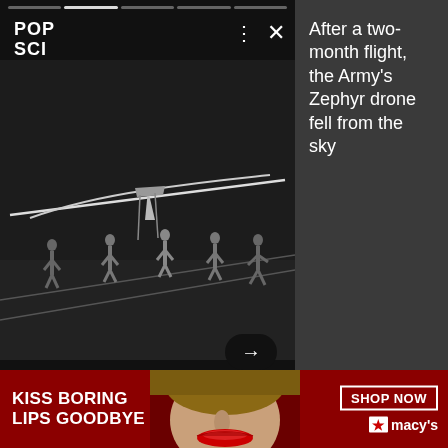[Figure (screenshot): Mobile app screenshot showing a dark scene with people and a large drone/aircraft on a tarmac at night. Progress bar segments at top, POP SCI logo top left, menu dots and X icons top right. Arrow navigation button bottom right.]
After a two-month flight, the Army's Zephyr drone fell from the sky
I'm not sure what sparked my battery obsession. Perhaps it was the installation of 3,000 lbs of lead-acid batteries used to power my homestead. Shortly after that, I found myself zapping old Ni-CD based battery packs with a welder to bring the once-dead batteries back to life. Then I began repacking the cells of other household items, including my iRobot vac and my
[Figure (photo): Advertisement banner: red background with woman's face showing red lips. Text: KISS BORING LIPS GOODBYE. SHOP NOW button. Macy's star logo.]